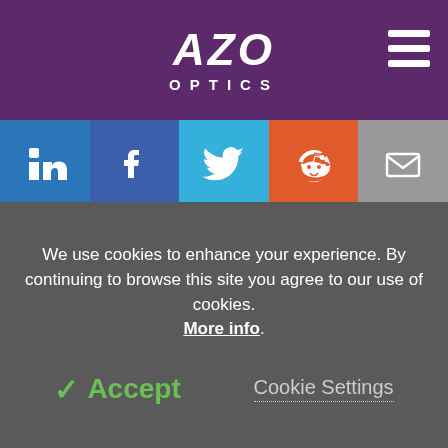AZO OPTICS
[Figure (infographic): Social media icon bar with LinkedIn (blue), Facebook (dark blue), Twitter (light blue), Reddit (orange), Email (gray)]
Search
Become a Member
Newsletters
Contact
Help/FAQs
Advertise
Terms & Conditions
We use cookies to enhance your experience. By continuing to browse this site you agree to our use of cookies. More info.
✓ Accept   Cookie Settings